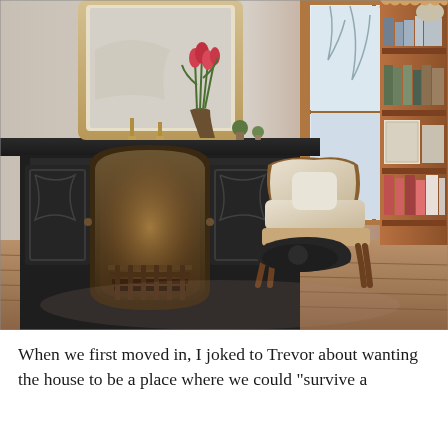[Figure (photo): Interior room photo showing a Victorian-style ornate black cast iron fireplace with decorative carvings and arched opening with grate visible, a mantel adorned with tulips in a vase, candle holders, plants and greenery, with a large gilt-framed mirror behind. To the right is a bright window with wood trim, a cream/beige upholstered antique armchair with carved wooden frame, a built-in wooden bookshelf filled with books and decorative objects, and hardwood floors.]
When we first moved in, I joked to Trevor about wanting the house to be a place where we could "survive a